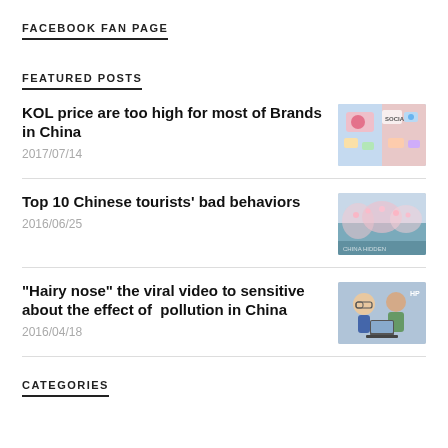FACEBOOK FAN PAGE
FEATURED POSTS
KOL price are too high for most of Brands in China
2017/07/14
[Figure (photo): Social media illustration with colorful icons and 'SOCIAL' text]
Top 10 Chinese tourists' bad behaviors
2016/06/25
[Figure (photo): Cherry blossom scene with tourists]
“Hairy nose” the viral video to sensitive about the effect of  pollution in China
2016/04/18
[Figure (photo): Two people looking at a laptop, one wearing glasses]
CATEGORIES